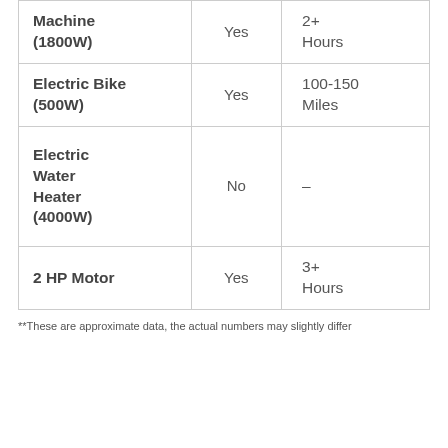| Machine (1800W) | Yes | 2+ Hours |
| Electric Bike (500W) | Yes | 100-150 Miles |
| Electric Water Heater (4000W) | No | – |
| 2 HP Motor | Yes | 3+ Hours |
**These are approximate data, the actual numbers may slightly differ